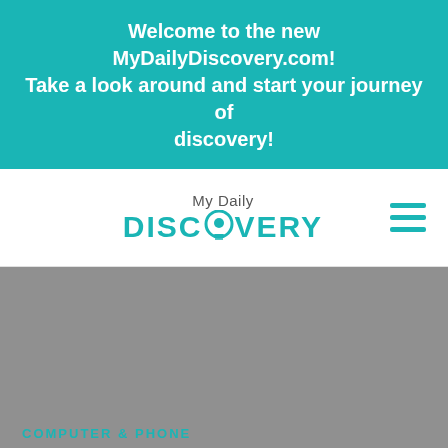Welcome to the new MyDailyDiscovery.com! Take a look around and start your journey of discovery!
[Figure (logo): My Daily Discovery logo with teal text and lightbulb icon in the O, plus hamburger menu icon]
COMPUTER & PHONE
Fancy Pants